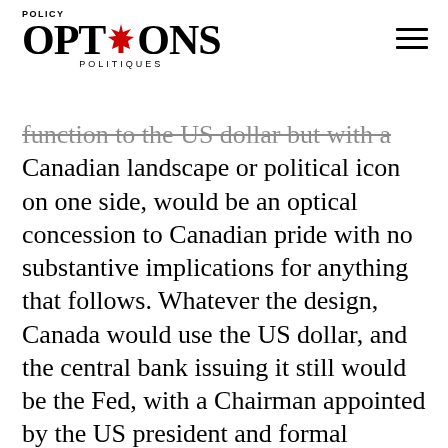POLICY OPTIONS POLITIQUES
function to the US dollar but with a Canadian landscape or political icon on one side, would be an optical concession to Canadian pride with no substantive implications for anything that follows. Whatever the design, Canada would use the US dollar, and the central bank issuing it still would be the Fed, with a Chairman appointed by the US president and formal accountability to the US Congress.
Using the US dollar would grate on Canadian sensibilities. In strict macroeconomic terms, however, it would raise problems but no overwhelming